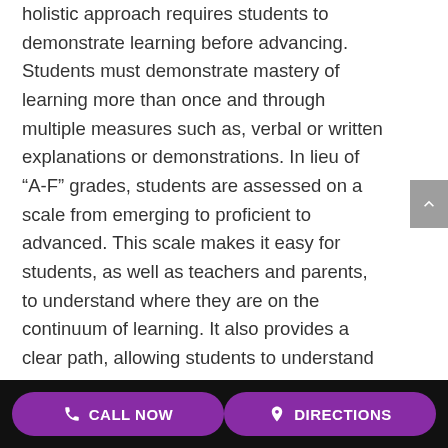holistic approach requires students to demonstrate learning before advancing. Students must demonstrate mastery of learning more than once and through multiple measures such as, verbal or written explanations or demonstrations. In lieu of “A-F” grades, students are assessed on a scale from emerging to proficient to advanced. This scale makes it easy for students, as well as teachers and parents, to understand where they are on the continuum of learning. It also provides a clear path, allowing students to understand what else they need to learn
CALL NOW   DIRECTIONS